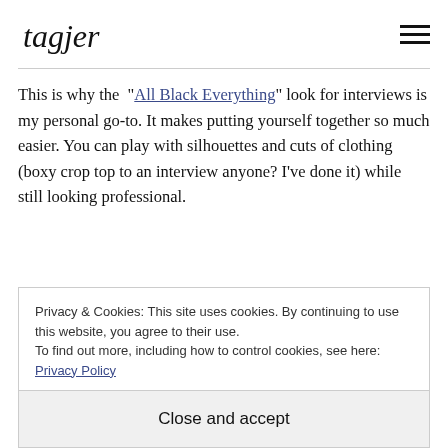tagjer [logo] with hamburger menu
This is why the “All Black Everything” look for interviews is my personal go-to. It makes putting yourself together so much easier. You can play with silhouettes and cuts of clothing (boxy crop top to an interview anyone? I’ve done it) while still looking professional.
Privacy & Cookies: This site uses cookies. By continuing to use this website, you agree to their use. To find out more, including how to control cookies, see here: Privacy Policy
Close and accept